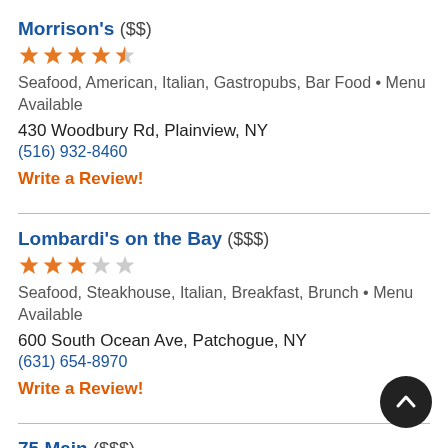Morrison's ($$)
[Figure (other): 4.5 star rating shown as orange stars]
Seafood, American, Italian, Gastropubs, Bar Food • Menu Available
430 Woodbury Rd, Plainview, NY
(516) 932-8460
Write a Review!
Lombardi's on the Bay ($$$)
[Figure (other): 3 star rating shown as orange stars]
Seafood, Steakhouse, Italian, Breakfast, Brunch • Menu Available
600 South Ocean Ave, Patchogue, NY
(631) 654-8970
Write a Review!
75 Main ($$$)
[Figure (other): 4 star rating shown as orange stars]
Lounges, Bar, Italian, American • Menu Available